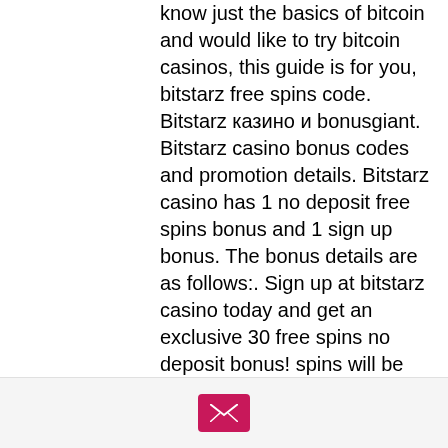know just the basics of bitcoin and would like to try bitcoin casinos, this guide is for you, bitstarz free spins code. Bitstarz казино и bonusgiant. Bitstarz casino bonus codes and promotion details. Bitstarz casino has 1 no deposit free spins bonus and 1 sign up bonus. The bonus details are as follows:. Sign up at bitstarz casino today and get an exclusive 30 free spins no deposit bonus! spins will be available on wolf gold, fruit zen or boomanji. Bitstarz welcome offer ♥ €100 welcome bonus + free spins ⚡ bitstarz bonuses ✓ free spins ✓ full review &amp; more by netent casino. Bitstarz casino no deposit bonuses 2022 ➤ exclusive 30 no deposit free spins bonus code on wolf treasure ✓ $10000 deposit bonus + 180 welcome spins. At bitstarz however, wednesday equals free spins day. Deposit $30 and get 20 free spins. Deposit $80 and
[Figure (other): Pink/magenta email envelope icon button on a light grey footer bar]